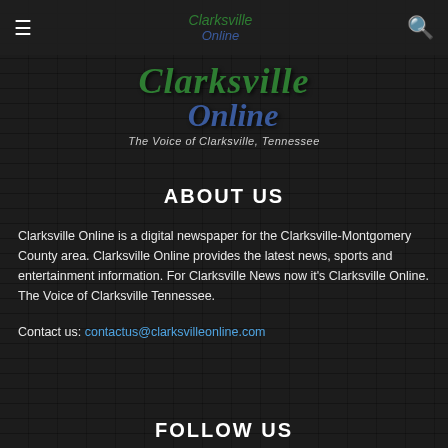Clarksville Online — The Voice of Clarksville, Tennessee
[Figure (logo): Clarksville Online logo — large hero version with green 'Clarksville' italic text and dark blue 'Online' italic text, tagline 'The Voice of Clarksville, Tennessee']
ABOUT US
Clarksville Online is a digital newspaper for the Clarksville-Montgomery County area. Clarksville Online provides the latest news, sports and entertainment information. For Clarksville News now it's Clarksville Online. The Voice of Clarksville Tennessee.
Contact us: contactus@clarksvilleonline.com
FOLLOW US